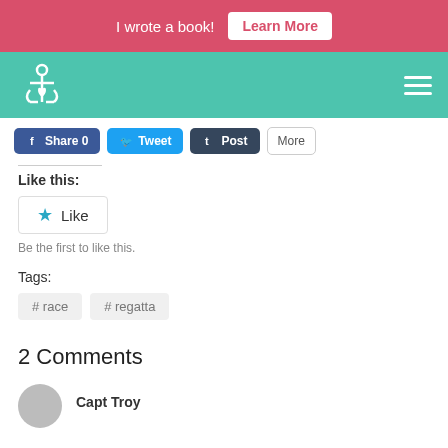I wrote a book! Learn More
[Figure (logo): Anchor with heart logo on teal navigation bar with hamburger menu]
Share 0  Tweet  Post  More
Like this:
Like
Be the first to like this.
Tags:
# race
# regatta
2 Comments
Capt Troy